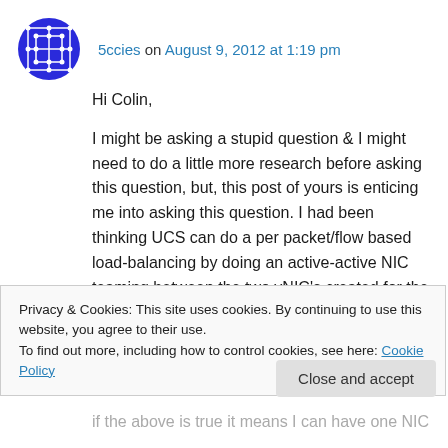5ccies on August 9, 2012 at 1:19 pm
Hi Colin,

I might be asking a stupid question & I might need to do a little more research before asking this question, but, this post of yours is enticing me into asking this question. I had been thinking UCS can do a per packet/flow based load-balancing by doing an active-active NIC teaming between the two vNIC's created for the same
Privacy & Cookies: This site uses cookies. By continuing to use this website, you agree to their use.
To find out more, including how to control cookies, see here: Cookie Policy
Close and accept
if the above is true it means I can have one NIC